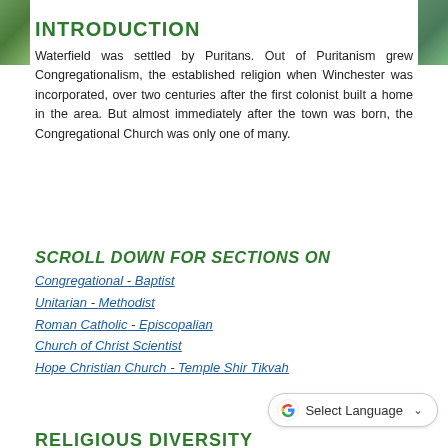INTRODUCTION
Waterfield was settled by Puritans. Out of Puritanism grew Congregationalism, the established religion when Winchester was incorporated, over two centuries after the first colonist built a home in the area. But almost immediately after the town was born, the Congregational Church was only one of many.
SCROLL DOWN FOR SECTIONS ON
Congregational - Baptist
Unitarian - Methodist
Roman Catholic - Episcopalian
Church of Christ Scientist
Hope Christian Church - Temple Shir Tikvah
Select Language
RELIGIOUS DIVERSITY